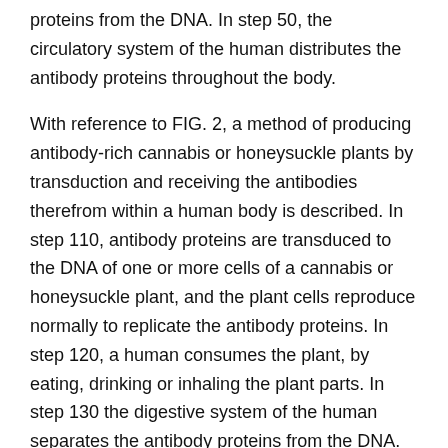proteins from the DNA. In step 50, the circulatory system of the human distributes the antibody proteins throughout the body.
With reference to FIG. 2, a method of producing antibody-rich cannabis or honeysuckle plants by transduction and receiving the antibodies therefrom within a human body is described. In step 110, antibody proteins are transduced to the DNA of one or more cells of a cannabis or honeysuckle plant, and the plant cells reproduce normally to replicate the antibody proteins. In step 120, a human consumes the plant, by eating, drinking or inhaling the plant parts. In step 130 the digestive system of the human separates the antibody proteins from the DNA. In step 140, the circulatory system of the human distributes the antibody proteins throughout the body.